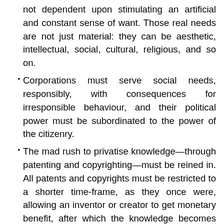not dependent upon stimulating an artificial and constant sense of want. Those real needs are not just material: they can be aesthetic, intellectual, social, cultural, religious, and so on.
Corporations must serve social needs, responsibly, with consequences for irresponsible behaviour, and their political power must be subordinated to the power of the citizenry.
The mad rush to privatise knowledge—through patenting and copyrighting—must be reined in. All patents and copyrights must be restricted to a shorter time-frame, as they once were, allowing an inventor or creator to get monetary benefit, after which the knowledge becomes public domain. Results of research at public universities and government-funded institutions must go directly into the public domain. And